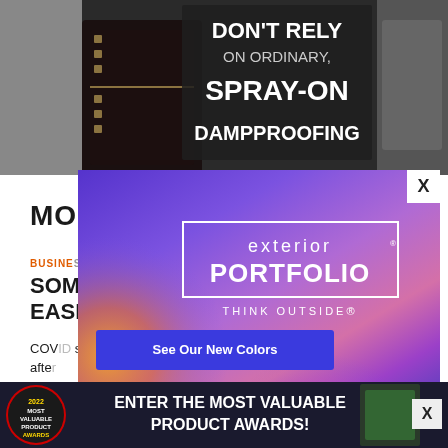[Figure (screenshot): Advertisement banner at top showing text 'DON'T RELY ON ORDINARY, SPRAY-ON DAMPPROOFING' over dark product imagery]
MOR[E]
BUSINE[SS]
Some[thing] Are Easi[er]
COV[ID] [something]. after[...]
[Figure (screenshot): Popup advertisement overlay for 'exterior PORTFOLIO - THINK OUTSIDE' with colorful gradient background, orange/yellow blob, logo in white border box, and blue 'See Our New Colors' button]
[Figure (screenshot): Bottom banner advertisement: '2022 MOST VALUABLE PRODUCT AWARDS - ENTER THE MOST VALUABLE PRODUCT AWARDS!' with circular logo badge and close X button]